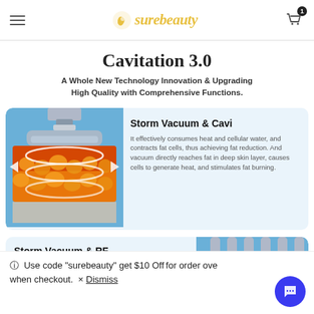surebeauty
Cavitation 3.0
A Whole New Technology Innovation & Upgrading High Quality with Comprehensive Functions.
[Figure (illustration): Close-up illustration of cavitation device head showing ultrasonic waves penetrating orange fat cell layer, with oval wave rings, red illumination, and device metal prongs above.]
Storm Vacuum & Cavi
It effectively consumes heat and cellular water, and contracts fat cells, thus achieving fat reduction. And vacuum directly reaches fat in deep skin layer, causes cells to generate heat, and stimulates fat burning.
Storm Vacuum & RF
It stimulates dermis and make it produce more fresh collagen filing up the void of collagen.
[Figure (illustration): Partial view of RF device head penetrating skin cross-section showing red heat layer and skin tissue below.]
ⓘ Use code "surebeauty" get $10 Off for order over when checkout. × Dismiss